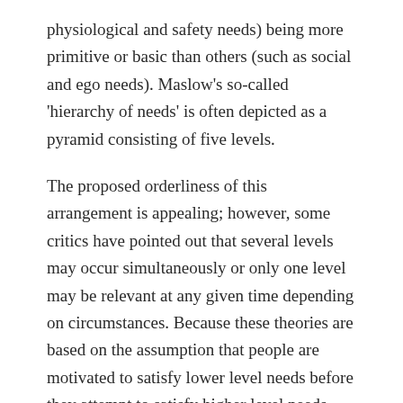physiological and safety needs) being more primitive or basic than others (such as social and ego needs). Maslow's so-called 'hierarchy of needs' is often depicted as a pyramid consisting of five levels.
The proposed orderliness of this arrangement is appealing; however, some critics have pointed out that several levels may occur simultaneously or only one level may be relevant at any given time depending on circumstances. Because these theories are based on the assumption that people are motivated to satisfy lower level needs before they attempt to satisfy higher level needs, these theories are often portrayed as pyramid-shaped.
Maslows hierarchy of needs is thought to be universal;